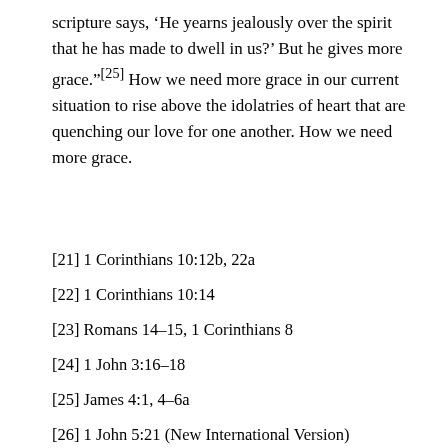scripture says, ‘He yearns jealously over the spirit that he has made to dwell in us?’ But he gives more grace.”[25] How we need more grace in our current situation to rise above the idolatries of heart that are quenching our love for one another. How we need more grace.
[21] 1 Corinthians 10:12b, 22a
[22] 1 Corinthians 10:14
[23] Romans 14–15, 1 Corinthians 8
[24] 1 John 3:16–18
[25] James 4:1, 4–6a
[26] 1 John 5:21 (New International Version)